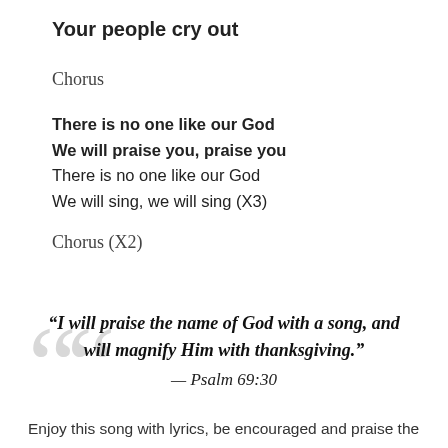Your people cry out
Chorus
There is no one like our God
We will praise you, praise you
There is no one like our God
We will sing, we will sing (X3)
Chorus (X2)
“I will praise the name of God with a song, and will magnify Him with thanksgiving.”
— Psalm 69:30
Enjoy this song with lyrics, be encouraged and praise the